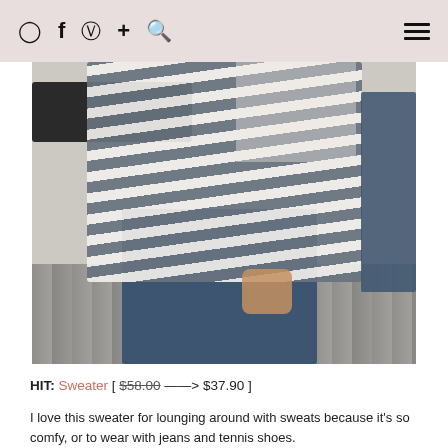Instagram, Facebook, Pinterest, +, Search, Menu
[Figure (photo): Person wearing a gray and white horizontal striped sweater with dark jeans, holding tan sandals, photographed from the torso down inside a store.]
HIT: Sweater [ $58.00 --> $37.90 ]
I love this sweater for lounging around with sweats because it's so comfy, or to wear with jeans and tennis shoes.